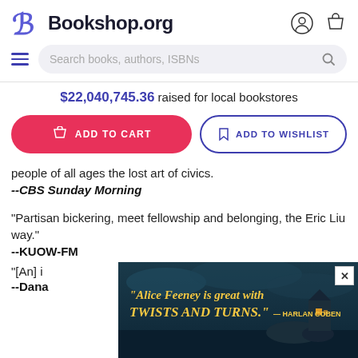Bookshop.org
Search books, authors, ISBNs
$22,040,745.36 raised for local bookstores
ADD TO CART | ADD TO WISHLIST
people of all ages the lost art of civics.
--CBS Sunday Morning
"Partisan bickering, meet fellowship and belonging, the Eric Liu way."
--KUOW-FM
"[An] in
--Dana
[Figure (screenshot): Advertisement with text: "Alice Feeney is great with TWISTS AND TURNS." — HARLAN COBEN, overlaid on a dark coastal scene with a lit cottage]